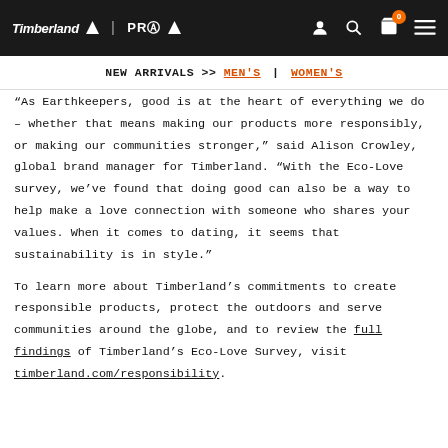Timberland | PRO — NEW ARRIVALS >> MEN'S | WOMEN'S
“As Earthkeepers, good is at the heart of everything we do – whether that means making our products more responsibly, or making our communities stronger,” said Alison Crowley, global brand manager for Timberland. “With the Eco-Love survey, we’ve found that doing good can also be a way to help make a love connection with someone who shares your values. When it comes to dating, it seems that sustainability is in style.”
To learn more about Timberland’s commitments to create responsible products, protect the outdoors and serve communities around the globe, and to review the full findings of Timberland’s Eco-Love Survey, visit timberland.com/responsibility.